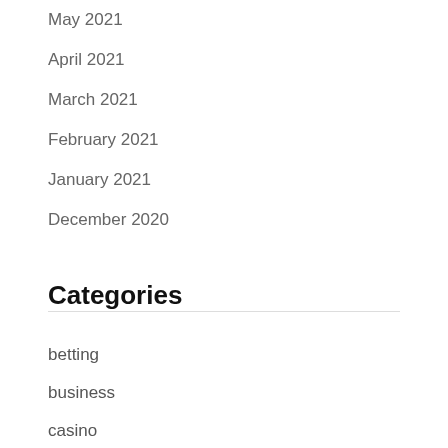May 2021
April 2021
March 2021
February 2021
January 2021
December 2020
Categories
betting
business
casino